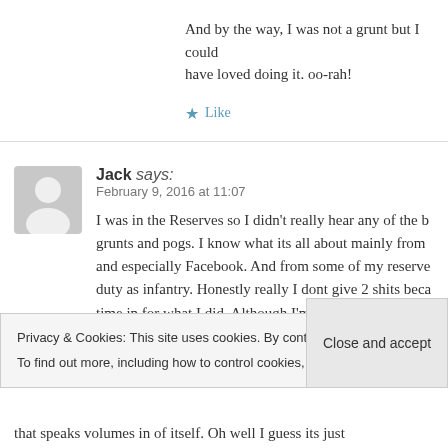And by the way, I was not a grunt but I could have loved doing it. oo-rah!
★ Like
Jack says: February 9, 2016 at 11:07
I was in the Reserves so I didn't really hear any of the banter between grunts and pogs. I know what its all about mainly from and especially Facebook. And from some of my reserve duty as infantry. Honestly really I dont give 2 shits because time in for what I did. Although I'm proud of what I did...
Privacy & Cookies: This site uses cookies. By continuing to use this website, you agree to their use. To find out more, including how to control cookies, see here: Cookie Policy
Close and accept
that speaks volumes in of itself. Oh well I guess its just